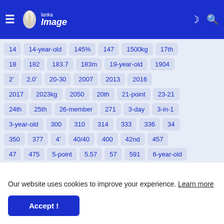lanka Image — navigation header with hamburger menu, moon icon, search icon
14
14-year-old
145%
147
1500kg
17th
18
182
183.7
183m
19-year-old
1904
2&#8217;
2.0&#8217;
20-30
2007
2013
2016
2017
2023kg
2050
20th
21-point
23-21
24th
25th
26-member
271
3-day
3-in-1
3-year-old
300
310
314
333
336
34
350
377
4&#8217;
40/40
400
42nd
457
47
475
5-point
5.57
57
591
6-year-old
Our website uses cookies to improve your experience. Learn more
Accept !